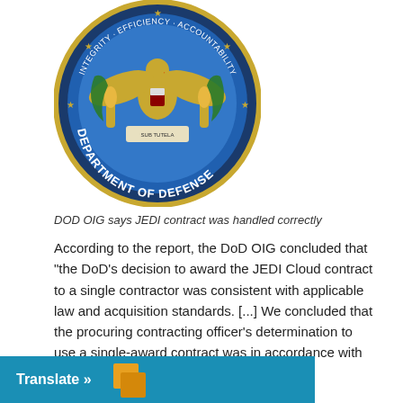[Figure (logo): Department of Defense official seal/logo — circular seal with eagle, torch bearers, laurel wreath, blue background, gold and green elements, text reading DEPARTMENT OF DEFENSE around the bottom arc and integrity efficiency accountability across the top.]
DOD OIG says JEDI contract was handled correctly
According to the report, the DoD OIG concluded that “the DoD’s decision to award the JEDI Cloud contract to a single contractor was consistent with applicable law and acquisition standards. [...] We concluded that the procuring contracting officer’s determination to use a single-award contract was in accordance with the Federal Acquisition Regulation and was reasonable.
[Figure (other): Translate button bar — teal/blue background with white bold text 'Translate »' and an orange/gold box icon to the right]